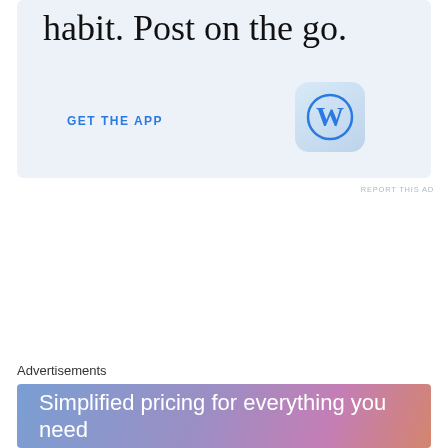[Figure (other): WordPress app advertisement with light blue background showing partial text 'habit. Post on the go.' with 'GET THE APP' call-to-action link and WordPress app icon]
REPORT THIS AD
Advertisements
[Figure (other): Advertisement with gradient background (blue to purple to pink) showing text 'Simplified pricing for everything you need']